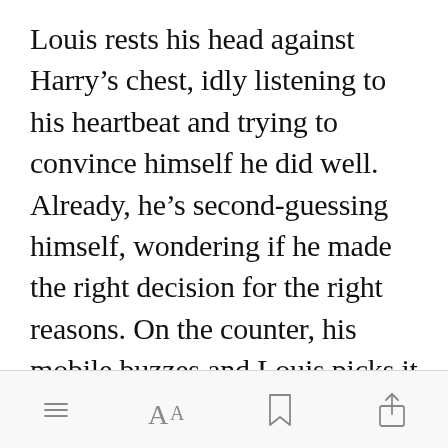Louis rests his head against Harry's chest, idly listening to his heartbeat and trying to convince himself he did well. Already, he's second-guessing himself, wondering if he made the right decision for the right reasons. On the counter, his mobile buzzes and Louis picks it up, his heart swelling when he sees the string of emojis his mother sent him. Harry gla[Open in app]he screen and
[menu icon] [font size icon] [bookmark icon] [share icon]